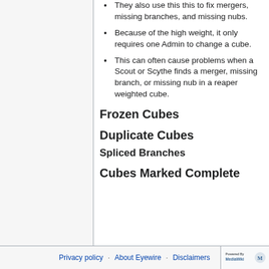They also use this this to fix mergers, missing branches, and missing nubs.
Because of the high weight, it only requires one Admin to change a cube.
This can often cause problems when a Scout or Scythe finds a merger, missing branch, or missing nub in a reaper weighted cube.
Frozen Cubes
Duplicate Cubes
Spliced Branches
Cubes Marked Complete
Privacy policy · About Eyewire · Disclaimers